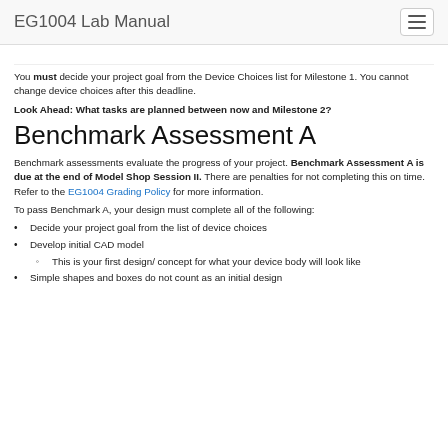EG1004 Lab Manual
(cutoff text from previous section)
You must decide your project goal from the Device Choices list for Milestone 1. You cannot change device choices after this deadline.
Look Ahead: What tasks are planned between now and Milestone 2?
Benchmark Assessment A
Benchmark assessments evaluate the progress of your project. Benchmark Assessment A is due at the end of Model Shop Session II. There are penalties for not completing this on time. Refer to the EG1004 Grading Policy for more information.
To pass Benchmark A, your design must complete all of the following:
Decide your project goal from the list of device choices
Develop initial CAD model
This is your first design/ concept for what your device body will look like
Simple shapes and boxes do not count as an initial design